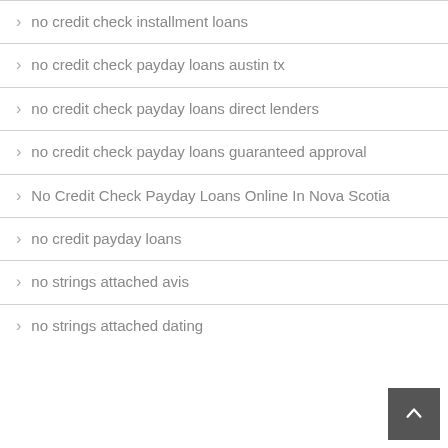no credit check installment loans
no credit check payday loans austin tx
no credit check payday loans direct lenders
no credit check payday loans guaranteed approval
No Credit Check Payday Loans Online In Nova Scotia
no credit payday loans
no strings attached avis
no strings attached dating